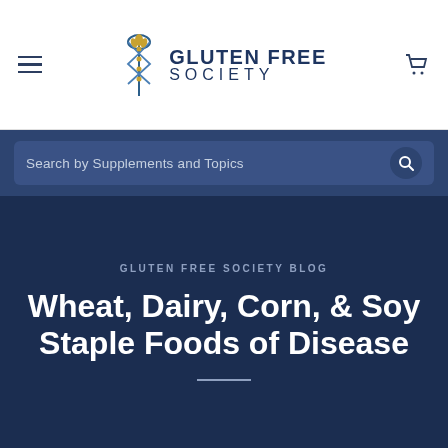Gluten Free Society — Navigation bar with menu icon, Gluten Free Society logo, and cart icon
Search by Supplements and Topics
GLUTEN FREE SOCIETY BLOG
Wheat, Dairy, Corn, & Soy Staple Foods of Disease